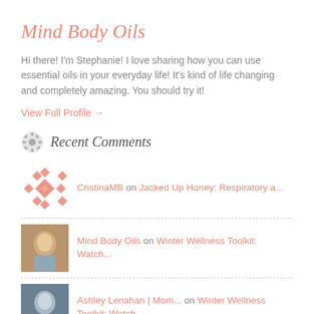Mind Body Oils
Hi there! I'm Stephanie! I love sharing how you can use essential oils in your everyday life! It's kind of life changing and completely amazing. You should try it!
View Full Profile →
Recent Comments
CristinaMB on Jacked Up Honey: Respiratory a...
Mind Body Oils on Winter Wellness Toolkit: Watch...
Ashley Lenahan | Mom... on Winter Wellness Toolkit: Watch...